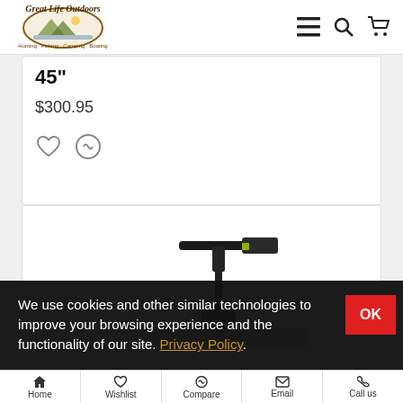[Figure (logo): Great Life Outdoors logo - circular emblem with outdoor scene, text reading Hunting, Fishing, Camping, Boating]
45"
$300.95
[Figure (photo): Photo of a trolling motor / electric boat motor with a T-shaped handle and vertical shaft, mounted on a boat surface, dark background]
We use cookies and other similar technologies to improve your browsing experience and the functionality of our site. Privacy Policy.
Home   Wishlist   Compare   Email   Call us